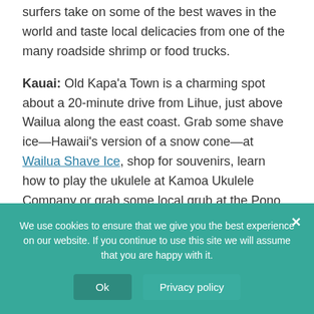surfers take on some of the best waves in the world and taste local delicacies from one of the many roadside shrimp or food trucks.
Kauai: Old Kapa'a Town is a charming spot about a 20-minute drive from Lihue, just above Wailua along the east coast. Grab some shave ice—Hawaii's version of a snow cone—at Wailua Shave Ice, shop for souvenirs, learn how to play the ukulele at Kamoa Ukulele Company or grab some local grub at the Pono Market.
Maui: Learn about the island's whaling history in Lahaina, once the capital of the Hawaiian Islands and now a town...
We use cookies to ensure that we give you the best experience on our website. If you continue to use this site we will assume that you are happy with it.